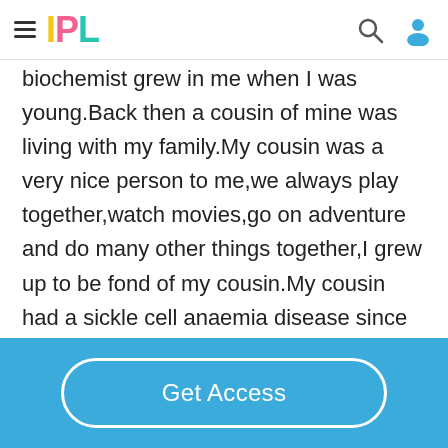IPL
biochemist grew in me when I was young.Back then a cousin of mine was living with my family.My cousin was a very nice person to me,we always play together,watch movies,go on adventure and do many other things together,I grew up to be fond of my cousin.My cousin had a sickle cell anaemia disease since he was young,he was placed on
Get Access